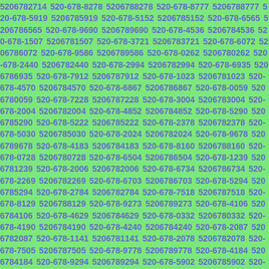5206782714 520-678-8278 5206788278 520-678-8777 5206788777 520-678-5919 5206785919 520-678-5152 5206785152 520-678-6565 5206786565 520-678-9690 5206789690 520-678-4536 5206784536 520-678-1507 5206781507 520-678-3721 5206783721 520-678-6072 5206786072 520-678-9586 5206789586 520-678-0262 5206780262 520-678-2440 5206782440 520-678-2994 5206782994 520-678-6935 5206786935 520-678-7912 5206787912 520-678-1023 5206781023 520-678-4570 5206784570 520-678-6867 5206786867 520-678-0059 5206780059 520-678-7228 5206787228 520-678-3004 5206783004 520-678-2004 5206782004 520-678-4852 5206784852 520-678-5290 5206785290 520-678-5222 5206785222 520-678-2378 5206782378 520-678-5030 5206785030 520-678-2024 5206782024 520-678-9678 5206789678 520-678-4183 5206784183 520-678-8160 5206788160 520-678-0728 5206780728 520-678-6504 5206786504 520-678-1239 5206781239 520-678-2006 5206782006 520-678-6734 5206786734 520-678-2269 5206782269 520-678-6703 5206786703 520-678-5294 5206785294 520-678-2784 5206782784 520-678-7518 5206787518 520-678-8129 5206788129 520-678-9273 5206789273 520-678-4106 5206784106 520-678-4629 5206784629 520-678-0332 5206780332 520-678-4190 5206784190 520-678-4240 5206784240 520-678-2087 5206782087 520-678-1141 5206781141 520-678-2078 5206782078 520-678-7505 5206787505 520-678-9778 5206789778 520-678-4184 5206784184 520-678-9294 5206789294 520-678-5902 5206785902 520-678-5125 5206785125 520-678-6262 5206786262 520-678-0987 5206780987 520-678-9700 5206789700 520-678-4075 5206784075